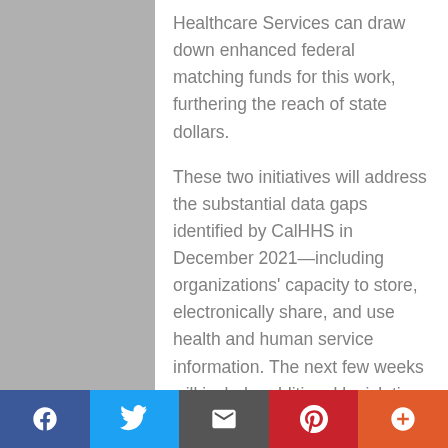Healthcare Services can draw down enhanced federal matching funds for this work, furthering the reach of state dollars.
These two initiatives will address the substantial data gaps identified by CalHHS in December 2021—including organizations' capacity to store, electronically share, and use health and human service information. The next few weeks will include additional legislative and administrative meetings, outreach and advocacy, and the development